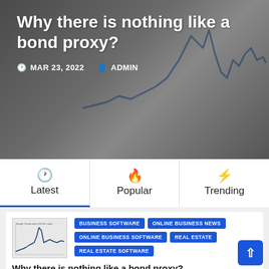Why there is nothing like a bond proxy?
MAR 23, 2022  ADMIN
Latest | Popular | Trending
[Figure (continuous-plot): Small thumbnail showing a line chart for bond/finance data]
BUSINESS SOFTWARE  ONLINE BUSINESS NEWS  ONLINE BUSINESS SOFTWARE  REAL ESTATE  REAL ESTATE SOFTWARE
Why there is nothing like a bond proxy?
[Figure (screenshot): Small thumbnail of a document/table]
BUSINESS SOFTWARE  ONLINE BUSINESS NEWS  ONLINE BUSINESS SOFTWARE  REAL ESTATE